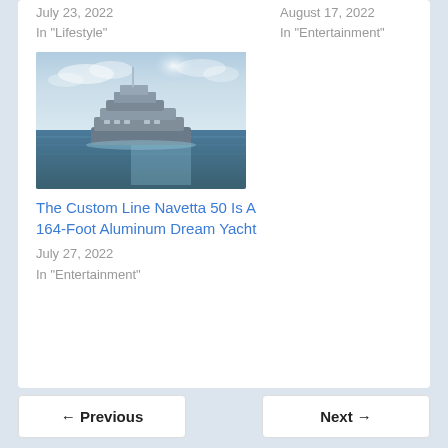July 23, 2022
In "Lifestyle"
August 17, 2022
In "Entertainment"
[Figure (photo): Luxury superyacht on open ocean water with dramatic sky and sunlight reflecting off the water]
The Custom Line Navetta 50 Is A 164-Foot Aluminum Dream Yacht
July 27, 2022
In "Entertainment"
← Previous    Next →